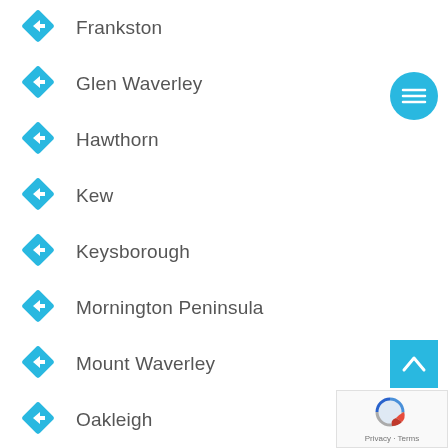Frankston
Glen Waverley
Hawthorn
Kew
Keysborough
Mornington Peninsula
Mount Waverley
Oakleigh
Rosebud
Rowville
[Figure (other): Cyan circular hamburger menu button with three horizontal lines]
[Figure (other): Cyan square back-to-top button with upward chevron]
[Figure (other): Google reCAPTCHA badge with Privacy and Terms text]